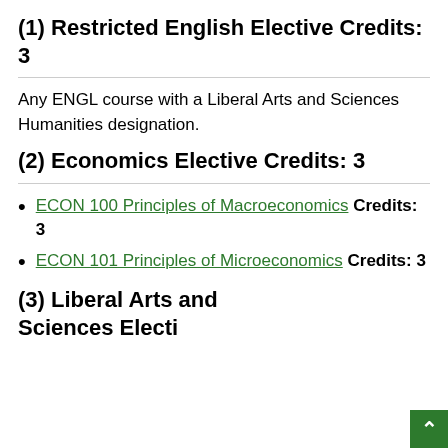(1) Restricted English Elective Credits: 3
Any ENGL course with a Liberal Arts and Sciences Humanities designation.
(2) Economics Elective Credits: 3
ECON 100 Principles of Macroeconomics Credits: 3
ECON 101 Principles of Microeconomics Credits: 3
(3) Liberal Arts and Sciences Elective...